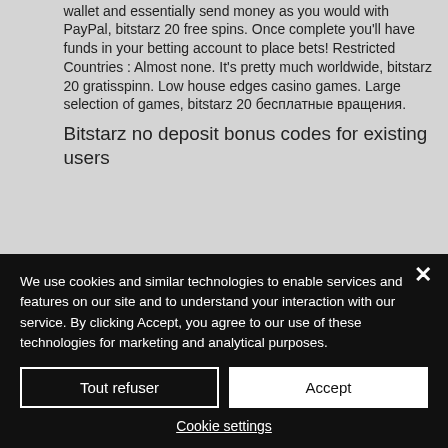wallet and essentially send money as you would with PayPal, bitstarz 20 free spins. Once complete you'll have funds in your betting account to place bets! Restricted Countries : Almost none. It's pretty much worldwide, bitstarz 20 gratisspinn. Low house edges casino games. Large selection of games, bitstarz 20 бесплатные вращения.
Bitstarz no deposit bonus codes for existing users
We use cookies and similar technologies to enable services and features on our site and to understand your interaction with our service. By clicking Accept, you agree to our use of these technologies for marketing and analytical purposes.
Tout refuser
Accept
Cookie settings